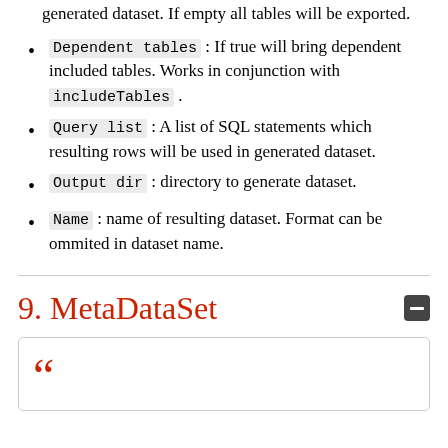generated dataset. If empty all tables will be exported.
Dependent tables : If true will bring dependent included tables. Works in conjunction with includeTables .
Query list : A list of SQL statements which resulting rows will be used in generated dataset.
Output dir : directory to generate dataset.
Name : name of resulting dataset. Format can be ommited in dataset name.
9. MetaDataSet
[Figure (other): Collapsed card panel with a red quotation mark at bottom of page]